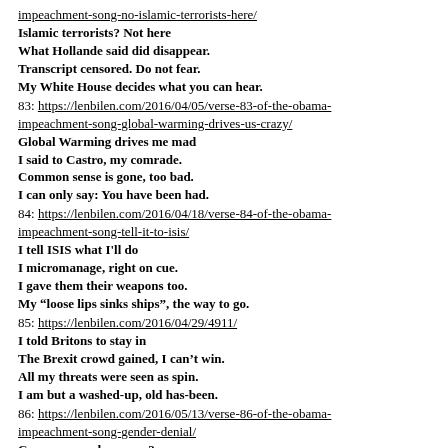impeachment-song-no-islamic-terrorists-here/
Islamic terrorists? Not here
What Hollande said did disappear.
Transcript censored. Do not fear.
My White House decides what you can hear.
83: https://lenbilen.com/2016/04/05/verse-83-of-the-obama-impeachment-song-global-warming-drives-us-crazy/
Global Warming drives me mad
I said to Castro, my comrade.
Common sense is gone, too bad.
I can only say: You have been had.
84: https://lenbilen.com/2016/04/18/verse-84-of-the-obama-impeachment-song-tell-it-to-isis/
I tell ISIS what I'll do
I micromanage, right on cue.
I gave them their weapons too.
My “loose lips sinks ships”, the way to go.
85: https://lenbilen.com/2016/04/29/4911/
I told Britons to stay in
The Brexit crowd gained, I can't win.
All my threats were seen as spin.
I am but a washed-up, old has-been.
86: https://lenbilen.com/2016/05/13/verse-86-of-the-obama-impeachment-song-gender-denial/
Can a woman be a man?
Why, yes, indeed I say you can.
No more gender, that's my plan.